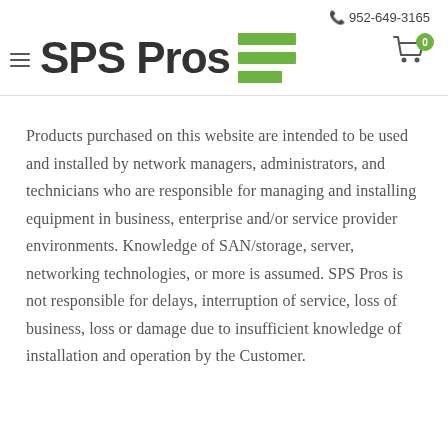📞 952-649-3165
[Figure (logo): SPS Pros logo with hamburger menu icon on left, large bold text 'SPS Pros', green horizontal bars forming a stacked bar graphic, and a shopping cart icon with badge showing 0]
Products purchased on this website are intended to be used and installed by network managers, administrators, and technicians who are responsible for managing and installing equipment in business, enterprise and/or service provider environments. Knowledge of SAN/storage, server, networking technologies, or more is assumed. SPS Pros is not responsible for delays, interruption of service, loss of business, loss or damage due to insufficient knowledge of installation and operation by the Customer.